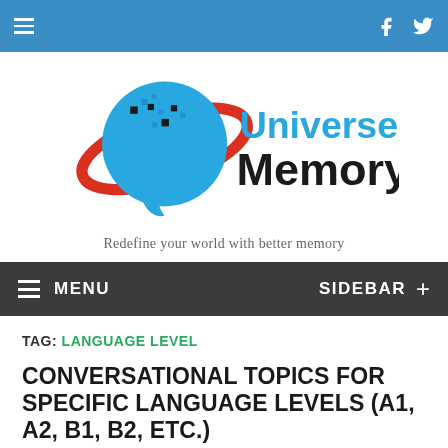Universe of Memory — Redefine your world with better memory
[Figure (logo): Universe of Memory logo: a blue chat bubble with orbiting red ellipse and pixel dots, with 'UniverseOf Memory' text in blue and dark gray]
Redefine your world with better memory
MENU  SIDEBAR +
TAG: LANGUAGE LEVEL
CONVERSATIONAL TOPICS FOR SPECIFIC LANGUAGE LEVELS (A1, A2, B1, B2, ETC.)